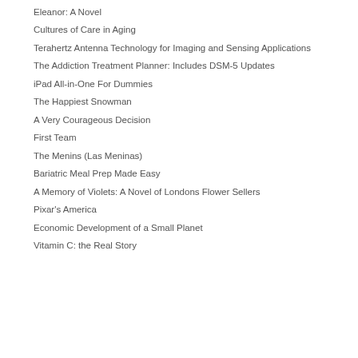Eleanor: A Novel
Cultures of Care in Aging
Terahertz Antenna Technology for Imaging and Sensing Applications
The Addiction Treatment Planner: Includes DSM-5 Updates
iPad All-in-One For Dummies
The Happiest Snowman
A Very Courageous Decision
First Team
The Menins (Las Meninas)
Bariatric Meal Prep Made Easy
A Memory of Violets: A Novel of Londons Flower Sellers
Pixar's America
Economic Development of a Small Planet
Vitamin C: the Real Story